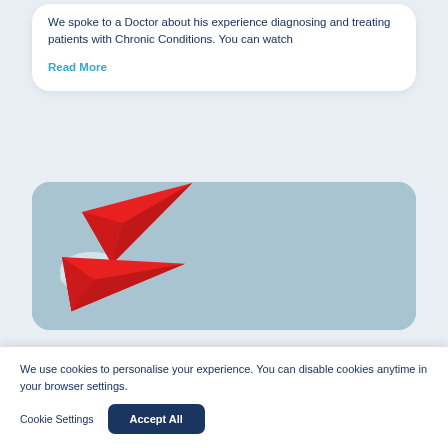We spoke to a Doctor about his experience diagnosing and treating patients with Chronic Conditions. You can watch
Read More
[Figure (photo): Two red paper airplanes on a light blue background, partially visible, rounded-corner card style.]
We use cookies to personalise your experience. You can disable cookies anytime in your browser settings.
Cookie Settings
Accept All